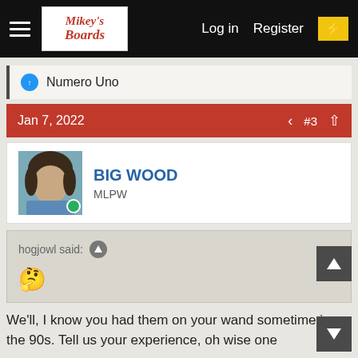Mikey's Boards — Log in  Register
Numero Uno
Jan 7, 2022  #3
BIG WOOD
MLPW
hogjowl said:
We'll, I know you had them on your wand sometime in the 90s. Tell us your experience, oh wise one